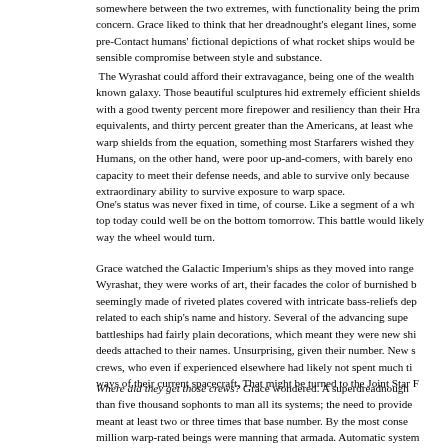somewhere between the two extremes, with functionality being the primary concern. Grace liked to think that her dreadnought's elegant lines, some pre-Contact humans' fictional depictions of what rocket ships would be sensible compromise between style and substance.
The Wyrashat could afford their extravagance, being one of the wealthiest known galaxy. Those beautiful sculptures hid extremely efficient shields with a good twenty percent more firepower and resiliency than their Hra equivalents, and thirty percent greater than the Americans, at least whe warp shields from the equation, something most Starfarers wished they Humans, on the other hand, were poor up-and-comers, with barely eno capacity to meet their defense needs, and able to survive only because extraordinary ability to survive exposure to warp space.
One's status was never fixed in time, of course. Like a segment of a wh top today could well be on the bottom tomorrow. This battle would likely way the wheel would turn.
Grace watched the Galactic Imperium's ships as they moved into range. Wyrashat, they were works of art, their facades the color of burnished b seemingly made of riveted plates covered with intricate bass-reliefs dep related to each ship's name and history. Several of the advancing supe battleships had fairly plain decorations, which meant they were new shi deeds attached to their names. Unsurprising, given their number. New s crews, who even if experienced elsewhere had likely not spent much ti ways of their current spacecraft. That might be turned to the Joint Star F
Where did they get those crews? Grace wondered. A superdreadnough than five thousand sophonts to man all its systems; the need to provide meant at least two or three times that base number. By the most conse million warp-rated beings were manning that armada. Automatic system much; true artificial intelligences were not only frowned upon by the El